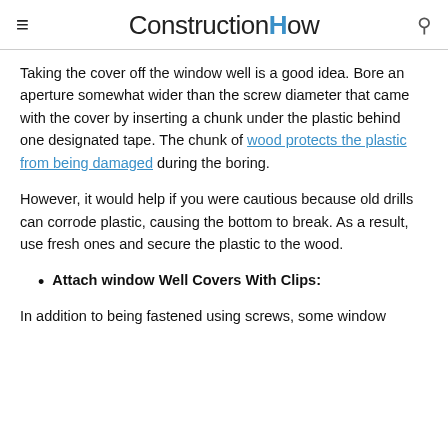ConstructionHow
Taking the cover off the window well is a good idea. Bore an aperture somewhat wider than the screw diameter that came with the cover by inserting a chunk under the plastic behind one designated tape. The chunk of wood protects the plastic from being damaged during the boring.
However, it would help if you were cautious because old drills can corrode plastic, causing the bottom to break. As a result, use fresh ones and secure the plastic to the wood.
Attach window Well Covers With Clips:
In addition to being fastened using screws, some window